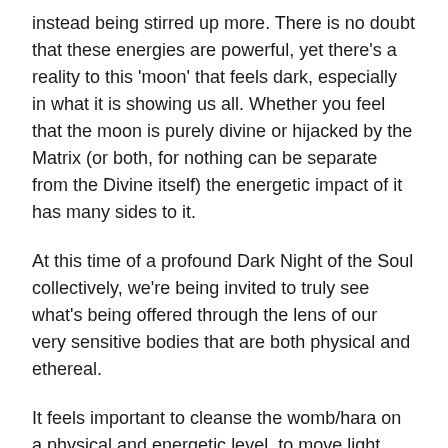instead being stirred up more. There is no doubt that these energies are powerful, yet there's a reality to this 'moon' that feels dark, especially in what it is showing us all. Whether you feel that the moon is purely divine or hijacked by the Matrix (or both, for nothing can be separate from the Divine itself) the energetic impact of it has many sides to it.
At this time of a profound Dark Night of the Soul collectively, we're being invited to truly see what's being offered through the lens of our very sensitive bodies that are both physical and ethereal.
It feels important to cleanse the womb/hara on a physical and energetic level, to move light through yet also to offer a space for her to feel with you what she is feeling and moving within her. If you are especially feeling a lot of physical/emotional pieces and symptoms at this time, I recommend this meditation